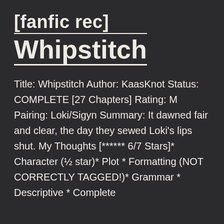[fanfic rec] Whipstitch
Title: Whipstitch Author: KaasKnot Status: COMPLETE [27 Chapters] Rating: M Pairing: Loki/Sigyn Summary: It dawned fair and clear, the day they sewed Loki's lips shut. My Thoughts [****** 6/7 Stars]* Character (½ star)* Plot * Formatting (NOT CORRECTLY TAGGED!)* Grammar * Descriptive * Complete